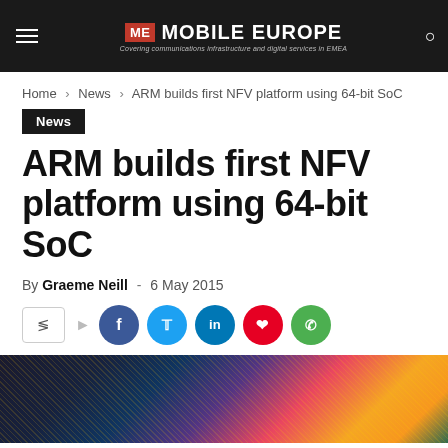ME MOBILE EUROPE — Covering communications infrastructure and digital services in EMEA
Home › News › ARM builds first NFV platform using 64-bit SoC
News
ARM builds first NFV platform using 64-bit SoC
By Graeme Neill - 6 May 2015
[Figure (screenshot): Social sharing buttons: share icon box, Facebook, Twitter, LinkedIn, Pinterest, WhatsApp]
[Figure (photo): Abstract colorful circuit board / digital city lights image used as article header photo]